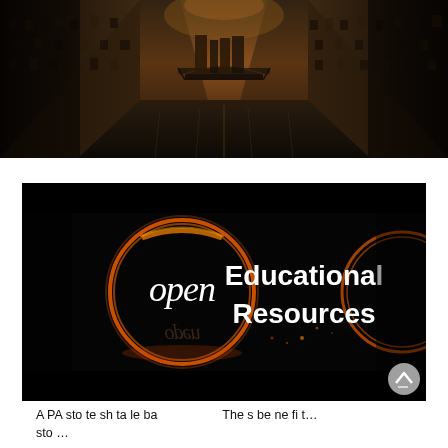[Figure (photo): Dark atmospheric photo of a canal or waterway between tall brick buildings, with a bridge visible in the distance and the sky above with a warm sunset glow.]
[Figure (photo): Black background image with 'open' written in cursive inside an orange glowing circle on the left, and 'Educational Resources' in white bold text on the right. Open Educational Resources logo/sign.]
A PA sto te sh ta le ba sto …   The s be ne fi t…